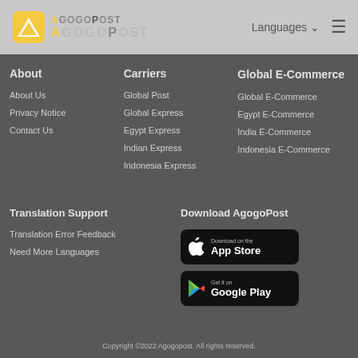AgogoPost Languages ≡
About
About Us
Privacy Notice
Contact Us
Carriers
Global Post
Global Express
Egypt Express
Indian Express
Indonesia Express
Global E-Commerce
Global E-Commerce
Egypt E-Commerce
India E-Commerce
Indonesia E-Commerce
Translation Support
Translation Error Feedback
Need More Languages
Download AgogoPost
[Figure (logo): Download on the App Store button]
[Figure (logo): Get it on Google Play button]
Copyright ©2022 Agogopost. All rights reserved.